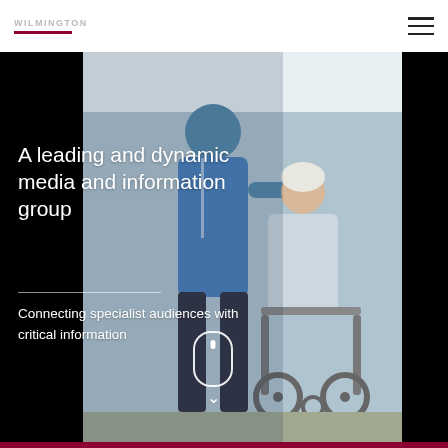[Figure (photo): A nurse in blue uniform pushing an elderly woman in a wheelchair in a hospital corridor. The nurse is adjusting or touching the elderly patient's head while the patient looks up. Background is a bright corridor.]
A leading and dynamic media and information group
Connecting specialist audiences with critical information